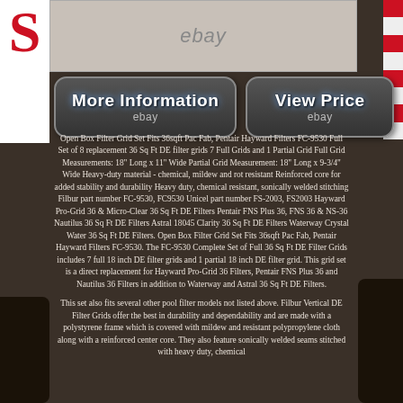[Figure (photo): Product image with ebay watermark at top]
[Figure (logo): Red S logo on left side and red/white horizontal stripes on right side]
[Figure (other): More Information button with ebay label]
[Figure (other): View Price button with ebay label]
Open Box Filter Grid Set Fits 36sqft Pac Fab, Pentair Hayward Filters FC-9530 Full Set of 8 replacement 36 Sq Ft DE filter grids 7 Full Grids and 1 Partial Grid Full Grid Measurements: 18" Long x 11" Wide Partial Grid Measurement: 18" Long x 9-3/4" Wide Heavy-duty material - chemical, mildew and rot resistant Reinforced core for added stability and durability Heavy duty, chemical resistant, sonically welded stitching Filbur part number FC-9530, FC9530 Unicel part number FS-2003, FS2003 Hayward Pro-Grid 36 & Micro-Clear 36 Sq Ft DE Filters Pentair FNS Plus 36, FNS 36 & NS-36 Nautilus 36 Sq Ft DE Filters Astral 18045 Clarity 36 Sq Ft DE Filters Waterway Crystal Water 36 Sq Ft DE Filters. Open Box Filter Grid Set Fits 36sqft Pac Fab, Pentair Hayward Filters FC-9530. The FC-9530 Complete Set of Full 36 Sq Ft DE Filter Grids includes 7 full 18 inch DE filter grids and 1 partial 18 inch DE filter grid. This grid set is a direct replacement for Hayward Pro-Grid 36 Filters, Pentair FNS Plus 36 and Nautilus 36 Filters in addition to Waterway and Astral 36 Sq Ft DE Filters.
This set also fits several other pool filter models not listed above. Filbur Vertical DE Filter Grids offer the best in durability and dependability and are made with a polystyrene frame which is covered with mildew and resistant polypropylene cloth along with a reinforced center core. They also feature sonically welded seams stitched with heavy duty, chemical